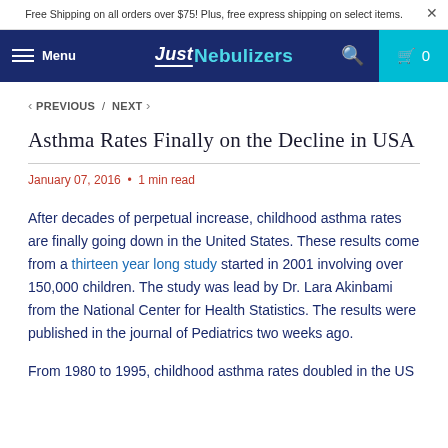Free Shipping on all orders over $75! Plus, free express shipping on select items.
[Figure (screenshot): JustNebulizers website navigation bar with hamburger menu, logo, search icon, and cart icon showing 0 items]
< PREVIOUS / NEXT >
Asthma Rates Finally on the Decline in USA
January 07, 2016 • 1 min read
After decades of perpetual increase, childhood asthma rates are finally going down in the United States. These results come from a thirteen year long study started in 2001 involving over 150,000 children. The study was lead by Dr. Lara Akinbami from the National Center for Health Statistics. The results were published in the journal of Pediatrics two weeks ago.
From 1980 to 1995, childhood asthma rates doubled in the US